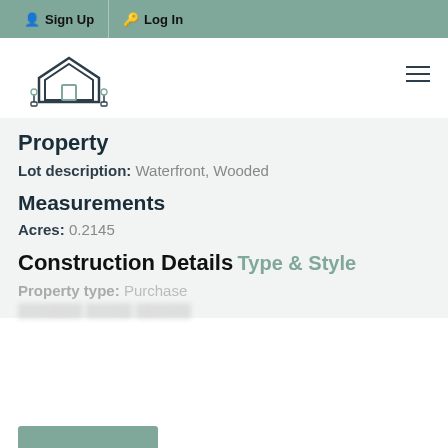Sign Up   Log In
[Figure (logo): Jacqueline & Company house logo with plants]
Property
Lot description: Waterfront, Wooded
Measurements
Acres: 0.2145
Construction Details
Type & Style
Property type: Purchase